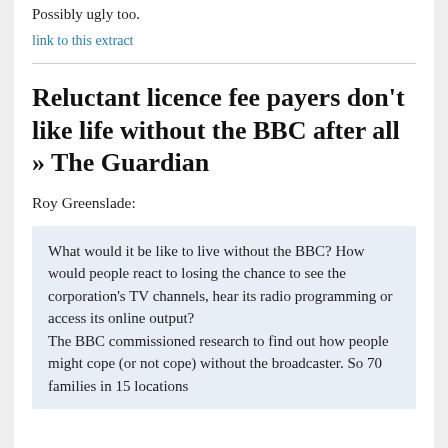Possibly ugly too.
link to this extract
Reluctant licence fee payers don't like life without the BBC after all » The Guardian
Roy Greenslade:
What would it be like to live without the BBC? How would people react to losing the chance to see the corporation's TV channels, hear its radio programming or access its online output?
The BBC commissioned research to find out how people might cope (or not cope) without the broadcaster. So 70 families in 15 locations